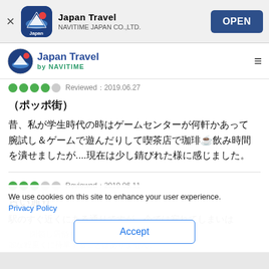Japan Travel NAVITIME JAPAN CO.,LTD. OPEN
Japan Travel by NAVITIME
Reviewed：2019.06.27
（ポッポ街）
昔、私が学生時代の時はゲームセンターが何軒かあって腕試し＆ゲームで遊んだりして喫茶店で珈琲☕飲み時間を潰せましたが....現在は少し錆びれた様に感じました。
Reviewed：2019.06.11
古い通り
駅のすぐ近くにある通りですが、今では寂れてしまいは
We use cookies on this site to enhance your user experience.
Privacy Policy
Accept